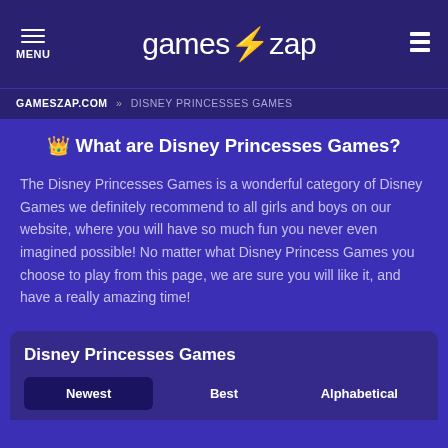MENU | games⚡zap
GAMESZAP.COM » DISNEY PRINCESSES GAMES
👑 What are Disney Princesses Games?
The Disney Princesses Games is a wonderful category of Disney Games we definitely recommend to all girls and boys on our website, where you will have so much fun you never even imagined possible! No matter what Disney Princess Games you choose to play from this page, we are sure you will like it, and have a really amazing time!
Disney Princesses Games
Newest | Best | Alphabetical